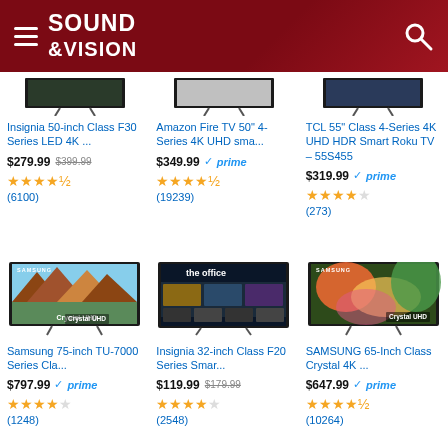Sound & Vision
[Figure (screenshot): Partial top row of TV product images cut off at top]
Insignia 50-inch Class F30 Series LED 4K ...
$279.99 $399.99
★★★★½ (6100)
Amazon Fire TV 50" 4-Series 4K UHD sma...
$349.99 ✓prime
★★★★½ (19239)
TCL 55" Class 4-Series 4K UHD HDR Smart Roku TV – 55S455
$319.99 ✓prime
★★★★½ (273)
[Figure (screenshot): Samsung 75-inch TU-7000 TV product image with Crystal UHD label]
[Figure (screenshot): Insignia 32-inch F20 Series TV showing The Office on screen]
[Figure (screenshot): Samsung 65-inch Crystal 4K TV product image with Crystal UHD label]
Samsung 75-inch TU-7000 Series Cla...
$797.99 ✓prime
★★★★½ (1248)
Insignia 32-inch Class F20 Series Smar...
$119.99 $179.99
★★★★½ (2548)
SAMSUNG 65-Inch Class Crystal 4K ...
$647.99 ✓prime
★★★★½ (10264)